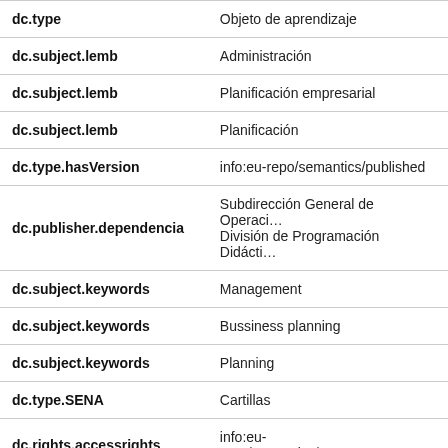| Field | Value |
| --- | --- |
| dc.type | Objeto de aprendizaje |
| dc.subject.lemb | Administración |
| dc.subject.lemb | Planificación empresarial |
| dc.subject.lemb | Planificación |
| dc.type.hasVersion | info:eu-repo/semantics/published |
| dc.publisher.dependencia | Subdirección General de Operaci… División de Programación Didácti… |
| dc.subject.keywords | Management |
| dc.subject.keywords | Bussiness planning |
| dc.subject.keywords | Planning |
| dc.type.SENA | Cartillas |
| dc.rights.accessrights | info:eu-repo/semantics/openAcce… |
| dcterms.bibliographicCitation | A.I.D. Administración moderna de cooperativas, editorial Roble, 197… |